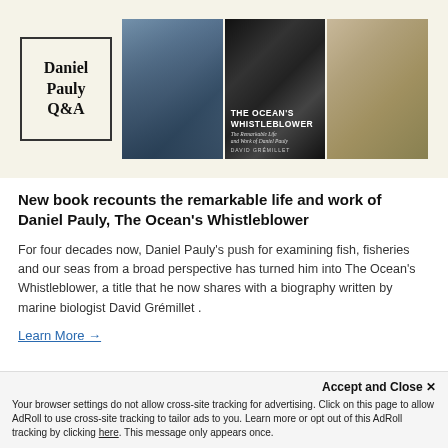[Figure (photo): Banner image with Daniel Pauly Q&A logo box on left, photo of Daniel Pauly sitting at a desk in the middle, and a book cover 'The Ocean's Whistleblower' with a portrait photo on the right]
New book recounts the remarkable life and work of Daniel Pauly, The Ocean's Whistleblower
For four decades now, Daniel Pauly's push for examining fish, fisheries and our seas from a broad perspective has turned him into The Ocean's Whistleblower, a title that he now shares with a biography written by marine biologist David Grémillet .
Learn More →
Accept and Close ✕
Your browser settings do not allow cross-site tracking for advertising. Click on this page to allow AdRoll to use cross-site tracking to tailor ads to you. Learn more or opt out of this AdRoll tracking by clicking here. This message only appears once.